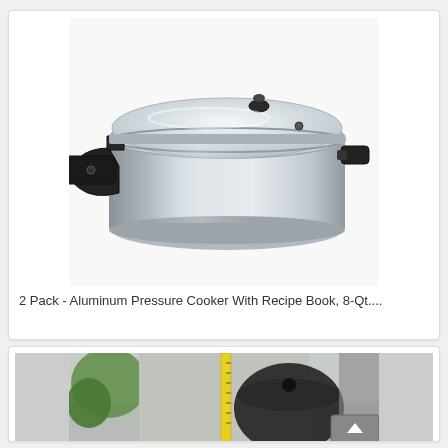[Figure (photo): Silver/aluminum pressure cooker with black handle and lid on white background]
2 Pack - Aluminum Pressure Cooker With Recipe Book, 8-Qt....
[Figure (photo): Partially visible photo of a pressure cooker outdoors with a measuring tape, in a garage/patio setting]